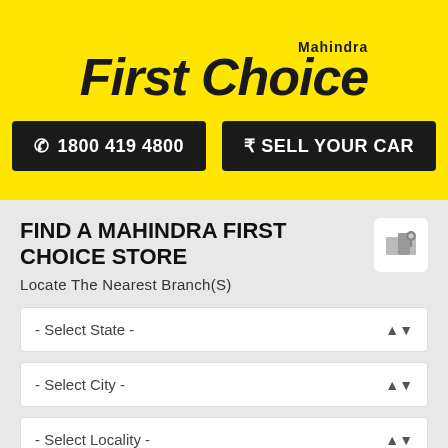[Figure (logo): Mahindra First Choice logo in bold italic black text on yellow background]
1800 419 4800
₹ SELL YOUR CAR
FIND A MAHINDRA FIRST CHOICE STORE
Locate The Nearest Branch(S)
- Select State -
- Select City -
- Select Locality -
- Select Radius-